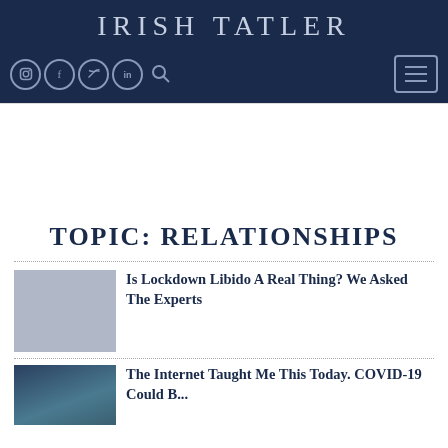IRISH TATLER
[Figure (screenshot): Navigation bar with social media icons (Instagram, Facebook, Twitter, LinkedIn), search icon, and hamburger menu button on dark navy background]
TOPIC: RELATIONSHIPS
Is Lockdown Libido A Real Thing? We Asked The Experts
The Internet Taught Me This Today. COVID-19 Could B...